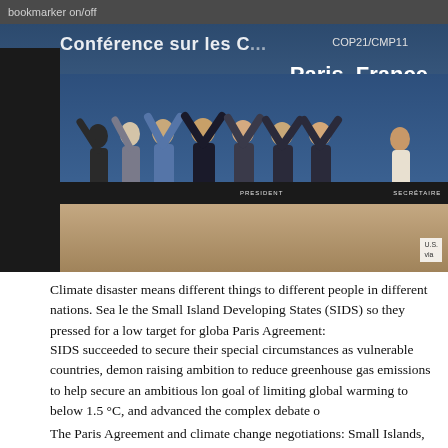bookmarker on/off
[Figure (photo): Group photo at COP21/CMP11 Conference in Paris, France. Several officials standing at a podium with arms raised in celebration. Background shows conference signage reading 'Conférence sur les C...' with 'COP21/CMP11' and 'Paris, France' visible. A wooden table/podium is in the foreground with nameplates including PRESIDENT and SECRETAIRE. Small badge in corner reads 'U.S.' and 'via'.]
Climate disaster means different things to different people in different nations. Sea le the Small Island Developing States (SIDS) so they pressed for a low target for globa Paris Agreement:
SIDS succeeded to secure their special circumstances as vulnerable countries, demon raising ambition to reduce greenhouse gas emissions to help secure an ambitious lon goal of limiting global warming to below 1.5 °C, and advanced the complex debate o
The Paris Agreement and climate change negotiations: Small Islands, big players